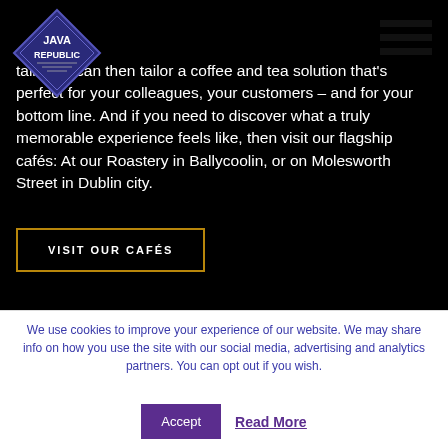[Figure (logo): Java Republic diamond-shaped logo with white text on navy blue background]
talk. We can then tailor a coffee and tea solution that's perfect for your colleagues, your customers – and for your bottom line. And if you need to discover what a truly memorable experience feels like, then visit our flagship cafés: At our Roastery in Ballycoolin, or on Molesworth Street in Dublin city.
VISIT OUR CAFÉS
We use cookies to improve your experience of our website. We may share info on how you use the site with our social media, advertising and analytics partners. You can opt out if you wish.
Accept
Read More